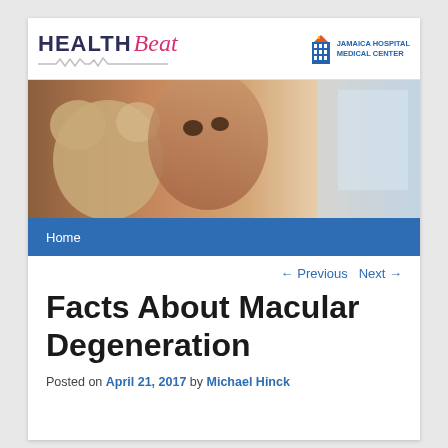[Figure (logo): Health Beat logo with heartbeat line and script 'Beat' text, alongside Jamaica Hospital Medical Center logo]
[Figure (photo): Hero banner photo of a young girl with curly hair holding a stuffed teddy bear, looking upward, warm tones on left fading to light blue on right]
Home
← Previous   Next →
Facts About Macular Degeneration
Posted on April 21, 2017 by Michael Hinck